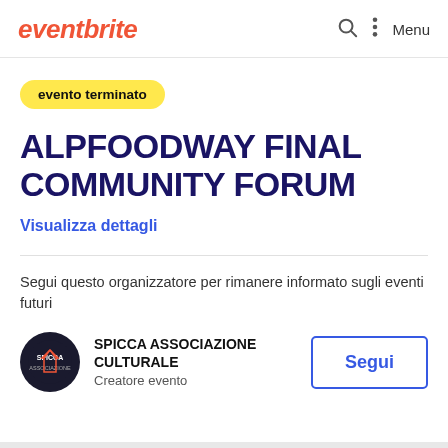eventbrite  Menu
evento terminato
ALPFOODWAY FINAL COMMUNITY FORUM
Visualizza dettagli
Segui questo organizzatore per rimanere informato sugli eventi futuri
SPICCA ASSOCIAZIONE CULTURALE
Creatore evento